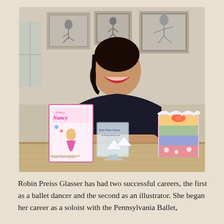[Figure (photo): Robin Preiss Glasser smiling, seated at a wooden table with arms crossed, wearing a sleeveless black top. In front of her is a Fancy Nancy book, an acrylic award/trophy, and a colorful decorative object. Behind her are framed ballet photographs on the wall.]
Robin Preiss Glasser has had two successful careers, the first as a ballet dancer and the second as an illustrator. She began her career as a soloist with the Pennsylvania Ballet,